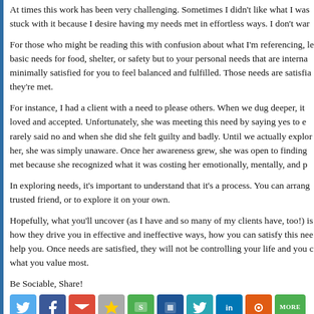At times this work has been very challenging. Sometimes I didn't like what I was stuck with it because I desire having my needs met in effortless ways. I don't war
For those who might be reading this with confusion about what I'm referencing, le basic needs for food, shelter, or safety but to your personal needs that are interna minimally satisfied for you to feel balanced and fulfilled. Those needs are satisfia they're met.
For instance, I had a client with a need to please others. When we dug deeper, it loved and accepted. Unfortunately, she was meeting this need by saying yes to e rarely said no and when she did she felt guilty and badly. Until we actually explor her, she was simply unaware. Once her awareness grew, she was open to finding met because she recognized what it was costing her emotionally, mentally, and p
In exploring needs, it's important to understand that it's a process. You can arrang trusted friend, or to explore it on your own.
Hopefully, what you'll uncover (as I have and so many of my clients have, too!) is how they drive you in effective and ineffective ways, how you can satisfy this nee help you. Once needs are satisfied, they will not be controlling your life and you c what you value most.
Be Sociable, Share!
[Figure (infographic): Social sharing icons: Twitter (blue bird), Facebook (blue f), Gmail (red M), Star (gray), Green bookmark, Blue square, Teal bird, LinkedIn (in), Orange circle, More (green button)]